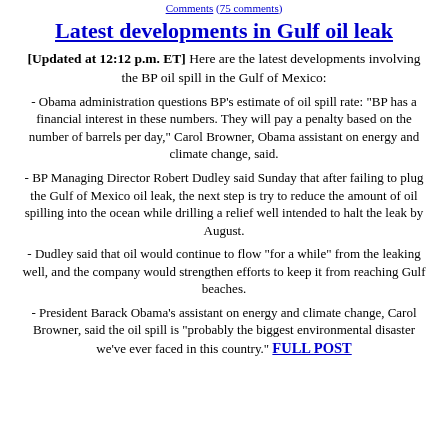Comments (75 comments)
Latest developments in Gulf oil leak
[Updated at 12:12 p.m. ET] Here are the latest developments involving the BP oil spill in the Gulf of Mexico:
- Obama administration questions BP's estimate of oil spill rate: "BP has a financial interest in these numbers. They will pay a penalty based on the number of barrels per day," Carol Browner, Obama assistant on energy and climate change, said.
- BP Managing Director Robert Dudley said Sunday that after failing to plug the Gulf of Mexico oil leak, the next step is try to reduce the amount of oil spilling into the ocean while drilling a relief well intended to halt the leak by August.
- Dudley said that oil would continue to flow "for a while" from the leaking well, and the company would strengthen efforts to keep it from reaching Gulf beaches.
- President Barack Obama's assistant on energy and climate change, Carol Browner, said the oil spill is "probably the biggest environmental disaster we've ever faced in this country." FULL POST